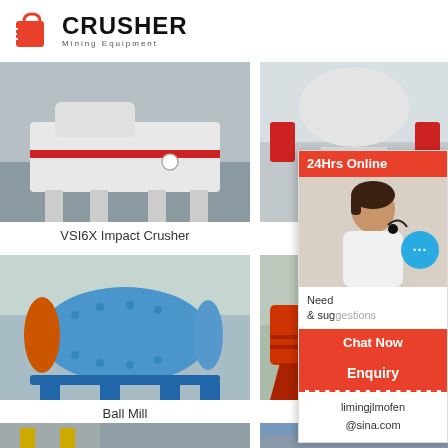[Figure (logo): Crusher Mining Equipment logo with red shopping bag icon and bold CRUSHER text]
[Figure (photo): VSI6X Impact Crusher machine in factory setting]
VSI6X Impact Crusher
[Figure (photo): VSI Sand Making machine in factory setting]
VSI Sand Ma[king Machine]
[Figure (photo): Blue Ball Mill machine outdoors]
Ball Mill
[Figure (photo): Red Magnetic Separator machine]
Magnetic [Separator]
[Figure (photo): Industrial facility interior with yellow equipment]
[Figure (photo): Outdoor industrial plant with blue sky]
[Figure (infographic): 24Hrs Online chat overlay with customer service representative, Chat Now button, Enquiry section, and email limingjlmofen@sina.com]
24Hrs Online
Need & suggestions
Chat Now
Enquiry
limingjlmofen@sina.com